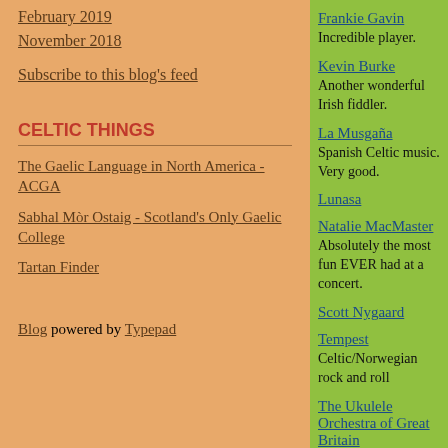February 2019
November 2018
Subscribe to this blog's feed
CELTIC THINGS
The Gaelic Language in North America - ACGA
Sabhal Mòr Ostaig - Scotland's Only Gaelic College
Tartan Finder
Blog powered by Typepad
Frankie Gavin
Incredible player.
Kevin Burke
Another wonderful Irish fiddler.
La Musgaña
Spanish Celtic music. Very good.
Lunasa
Natalie MacMaster
Absolutely the most fun EVER had at a concert.
Scott Nygaard
Tempest
Celtic/Norwegian rock and roll
The Ukulele Orchestra of Great Britain
Inspiring!